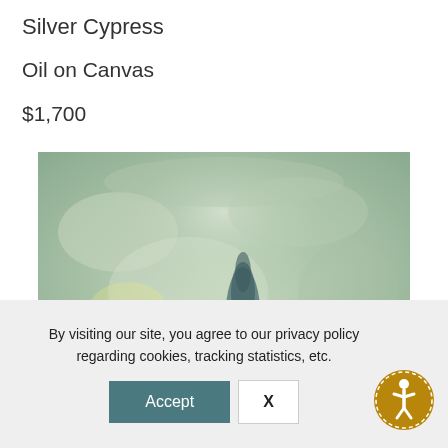Silver Cypress
Oil on Canvas
$1,700
[Figure (photo): Oil painting titled 'Silver Cypress' — a landscape rendered in muted sage green and yellow-gold tones with impressionistic brushwork, depicting a misty atmospheric scene with a dark cypress-like form in the center.]
By visiting our site, you agree to our privacy policy regarding cookies, tracking statistics, etc.